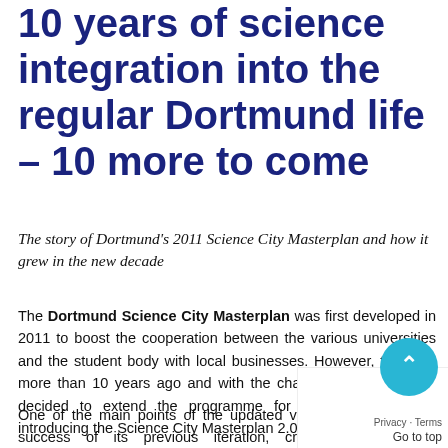10 years of science integration into the regular Dortmund life – 10 more to come
The story of Dortmund's 2011 Science City Masterplan and how it grew in the new decade
The Dortmund Science City Masterplan was first developed in 2011 to boost the cooperation between the various universities and the student body with local businesses. However, that was more than 10 years ago and with the changing times, the city decided to extend the programme for another decade by introducing the Science City Masterplan 2.0.
One of the main points of the updated version was upon the success of its previous iteration, creati between local entrepreneurs and the academic